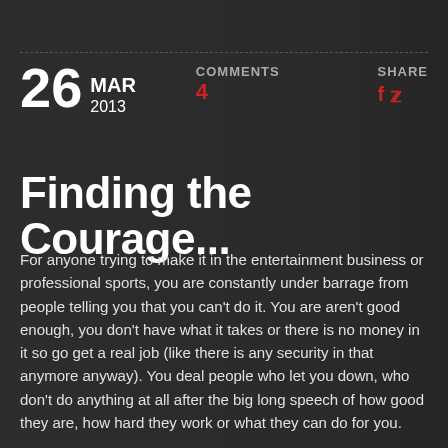26 MAR 2013
COMMENTS
4
SHARE
f twitter
Finding the Courage...
For anyone trying to make it in the entertainment business or professional sports, you are constantly under barrage from people telling you that you can't do it. You are aren't good enough, you don't have what it takes or there is no money in it so go get a real job (like there is any security in that anymore anyway). You deal people who let you down, who don't do anything at all after the big long speech of how good they are, how hard they work or what they can do for you.
You have haters and trolls on the internet, other people in your genre constantly tearing you doing or taking jabs at you. It get's lonely, harder and often times you feel like giving up. Well you can't. No matter what anyone says or does to you, only you can keep pushing,